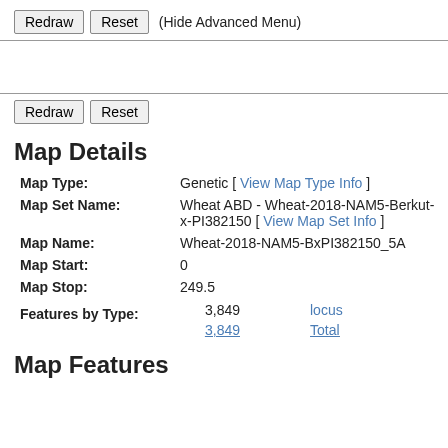Redraw  Reset  (Hide Advanced Menu)
Redraw  Reset
Map Details
| Field | Value |
| --- | --- |
| Map Type: | Genetic [ View Map Type Info ] |
| Map Set Name: | Wheat ABD - Wheat-2018-NAM5-Berkut-x-PI382150 [ View Map Set Info ] |
| Map Name: | Wheat-2018-NAM5-BxPI382150_5A |
| Map Start: | 0 |
| Map Stop: | 249.5 |
| Features by Type: | 3,849   locus
3,849   Total |
Map Features